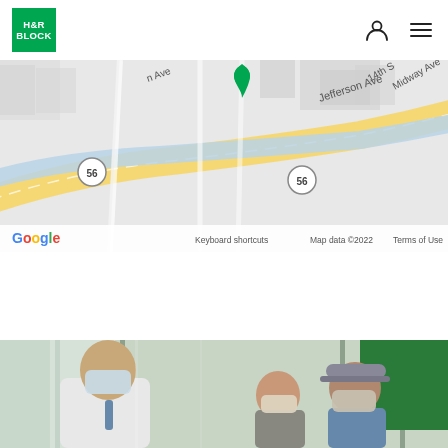[Figure (logo): H&R Block green logo]
[Figure (map): Google Maps screenshot showing Jefferson Ave area with route 56, green heart pin marker, street labels including Jefferson Ave, 14th St, Midway Ave. Google branding, Keyboard shortcuts, Map data ©2022, Terms of Use shown at bottom.]
[Figure (photo): Photo of an H&R Block tax professional wearing a mask speaking with an older couple (man wearing cap and mask, woman wearing mask) inside an H&R Block office with green panel visible in background.]